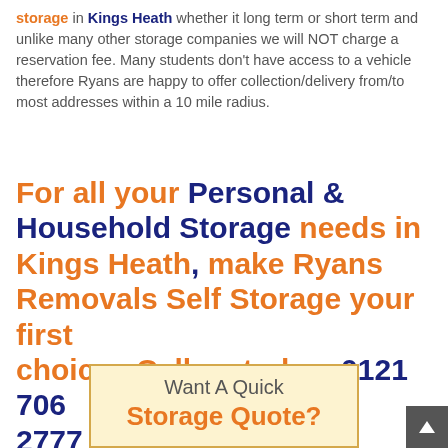storage in Kings Heath whether it long term or short term and unlike many other storage companies we will NOT charge a reservation fee. Many students don't have access to a vehicle therefore Ryans are happy to offer collection/delivery from/to most addresses within a 10 mile radius.
For all your Personal & Household Storage needs in Kings Heath, make Ryans Removals Self Storage your first choice.  Call us today: 0121 706 2777
[Figure (other): Banner box with light yellow background and orange border containing text 'Want A Quick Storage Quote?']